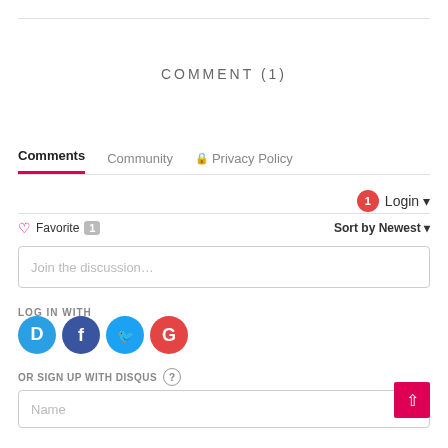COMMENT (1)
Comments  Community  🔒 Privacy Policy
1  Login ▾
♡ Favorite  1  Sort by Newest ▾
Join the discussion...
LOG IN WITH
[Figure (logo): Social login icons: Disqus (blue), Facebook (dark blue), Twitter (light blue), Google (red)]
OR SIGN UP WITH DISQUS (?)
Name